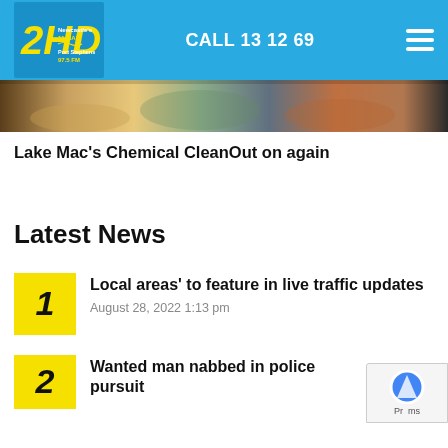2HD Newcastle's 1143AM Port Stephens 97.5FM — CALL 13 12 69
[Figure (photo): Hero image strip showing colourful objects including pottery/bowls, likely chemical or household items for Chemical CleanOut story]
Lake Mac's Chemical CleanOut on again
Latest News
1 — Local areas' to feature in live traffic updates — August 28, 2022 1:13 pm
2 — Wanted man nabbed in police pursuit